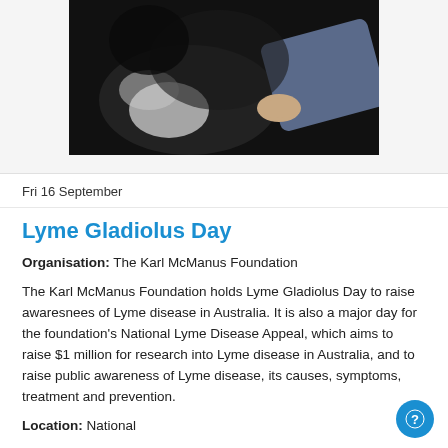[Figure (photo): Dark photograph showing a person's hand (wearing a blue/grey sleeve) touching or petting a black and white dog against a dark background]
Fri 16 September
Lyme Gladiolus Day
Organisation: The Karl McManus Foundation
The Karl McManus Foundation holds Lyme Gladiolus Day to raise awaresnees of Lyme disease in Australia. It is also a major day for the foundation's National Lyme Disease Appeal, which aims to raise $1 million for research into Lyme disease in Australia, and to raise public awareness of Lyme disease, its causes, symptoms, treatment and prevention.
Location: National
Website: www.karlmcmanusfoundation.org.au